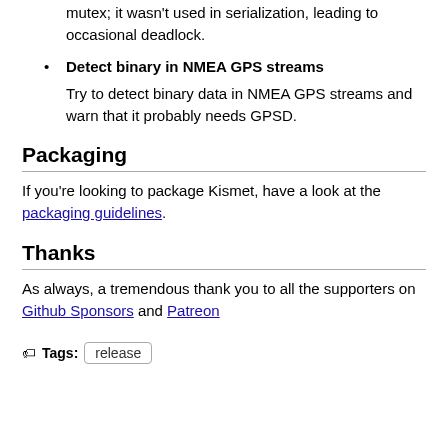mutex; it wasn't used in serialization, leading to occasional deadlock.
Detect binary in NMEA GPS streams
Try to detect binary data in NMEA GPS streams and warn that it probably needs GPSD.
Packaging
If you're looking to package Kismet, have a look at the packaging guidelines.
Thanks
As always, a tremendous thank you to all the supporters on Github Sponsors and Patreon
Tags: release